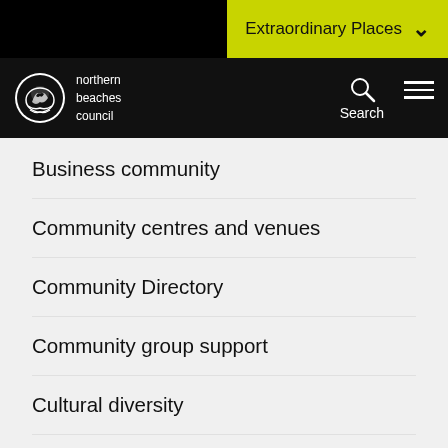Extraordinary Places
[Figure (logo): Northern Beaches Council logo with circular emblem and text 'northern beaches council']
Business community
Community centres and venues
Community Directory
Community group support
Cultural diversity
Filming and photography
Heritage
Pets